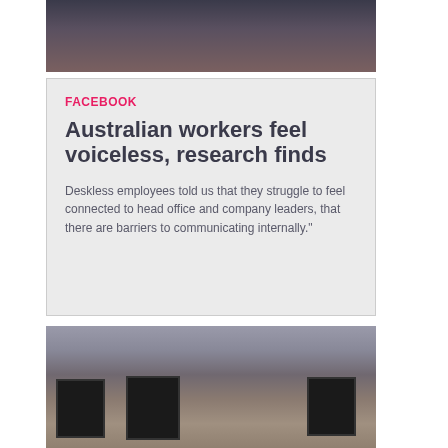[Figure (photo): Top portion of a photo showing a person, cropped at the bottom, dark tones]
FACEBOOK
Australian workers feel voiceless, research finds
Deskless employees told us that they struggle to feel connected to head office and company leaders, that there are barriers to communicating internally."
[Figure (photo): Office scene with multiple workers at desks with computers and monitors, one person in foreground typing on laptop]